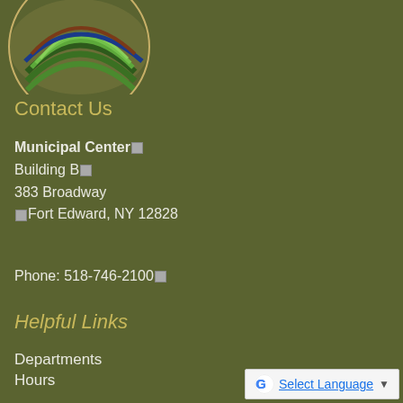[Figure (logo): Circular logo with layered green, brown and blue bands resembling landscape, partially visible at top left]
Contact Us
Municipal Center®
Building B®
383 Broadway
®Fort Edward, NY 12828
Phone: 518-746-2100®
Helpful Links
Departments
Hours
Staff Directory
Calendar
[Figure (logo): Google Translate widget with G logo, Select Language text and dropdown arrow]
View All...